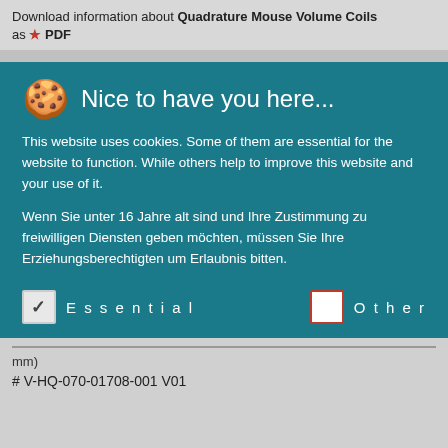Download information about Quadrature Mouse Volume Coils as PDF
🍪 Nice to have you here...
This website uses cookies. Some of them are essential for the website to function. While others help to improve this website and your use of it.
Wenn Sie unter 16 Jahre alt sind und Ihre Zustimmung zu freiwilligen Diensten geben möchten, müssen Sie Ihre Erziehungsberechtigten um Erlaubnis bitten.
Wir verwenden Cookies und andere Technologien auf unserer Website. Einige von ihnen sind essenziell, während andere uns helfen, diese Website und Ihre Erfahrung zu verbessern. Personenbezogene Daten können verarbeitet werden (z. B. IP-Adressen), z. B. für personalisierte Anzeigen und Inhalte oder Anzeigen- und
Essential   Other
mm)
# V-HQ-070-01708-001 V01